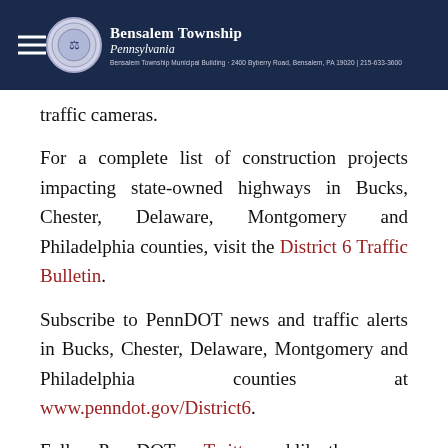Bensalem Township Pennsylvania
traffic cameras.
For a complete list of construction projects impacting state-owned highways in Bucks, Chester, Delaware, Montgomery and Philadelphia counties, visit the District 6 Traffic Bulletin.
Subscribe to PennDOT news and traffic alerts in Bucks, Chester, Delaware, Montgomery and Philadelphia counties at www.penndot.gov/District6.
Follow PennDOT on Twitter and like the